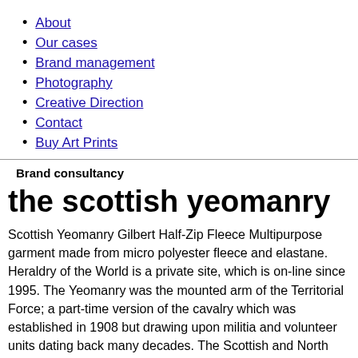About
Our cases
Brand management
Photography
Creative Direction
Contact
Buy Art Prints
Brand consultancy
the scottish yeomanry
Scottish Yeomanry Gilbert Half-Zip Fleece Multipurpose garment made from micro polyester fleece and elastane. Heraldry of the World is a private site, which is on-line since 1995. The Yeomanry was the mounted arm of the Territorial Force; a part-time version of the cavalry which was established in 1908 but drawing upon militia and volunteer units dating back many decades. The Scottish and North Irish Yeomanry (SNIY) is a Light Cavalry Regiment within the British Army Reserve, with a "Combat Recce" role. (en